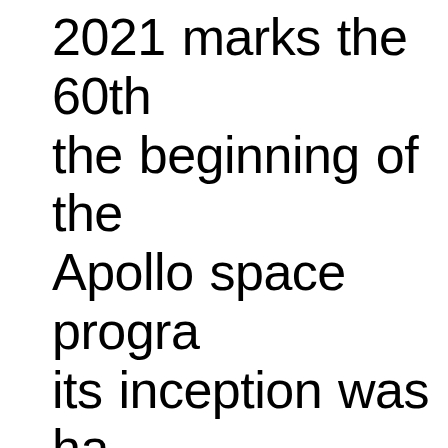2021 marks the 60th the beginning of the Apollo space program its inception was ha beginning of human fascination with Ear moon. Before space the moon—its shap and the face wo